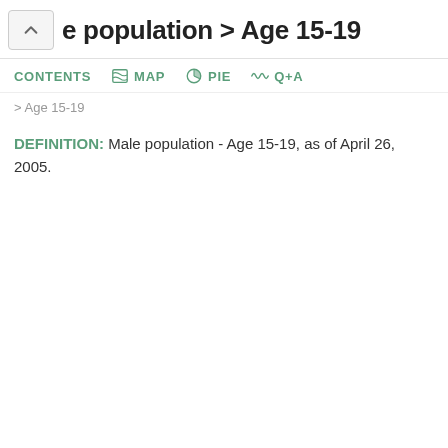e population > Age 15-19
CONTENTS  MAP  PIE  Q+A
Age 15-19
DEFINITION: Male population - Age 15-19, as of April 26, 2005.